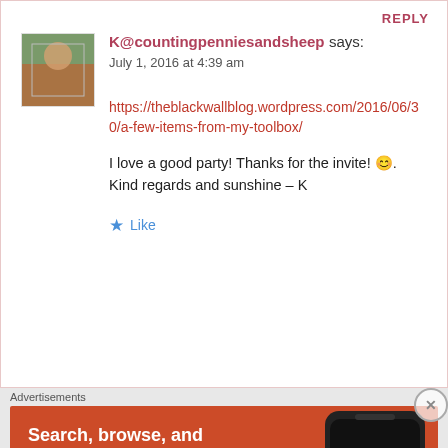REPLY
K@countingpenniesandsheep says:
July 1, 2016 at 4:39 am
https://theblackwallblog.wordpress.com/2016/06/30/a-few-items-from-my-toolbox/
I love a good party! Thanks for the invite! 😊. Kind regards and sunshine – K
Like
Advertisements
[Figure (screenshot): DuckDuckGo advertisement banner: Search, browse, and email with more privacy. All in One Free App. Shows a phone with DuckDuckGo logo.]